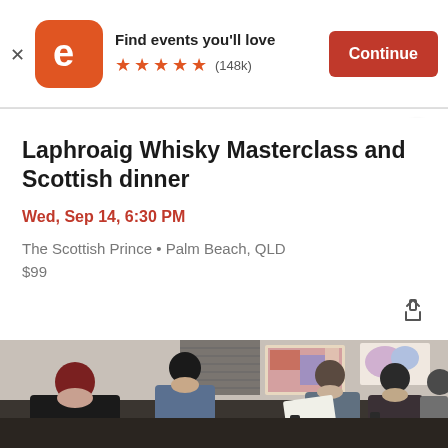[Figure (screenshot): Eventbrite app banner with logo, 'Find events you'll love', 5 stars (148k reviews), and Continue button]
Laphroaig Whisky Masterclass and Scottish dinner
Wed, Sep 14, 6:30 PM
The Scottish Prince • Palm Beach, QLD
$99
[Figure (photo): Group of people sitting in a room attending an event, some reading documents, colorful artwork on the wall behind them]